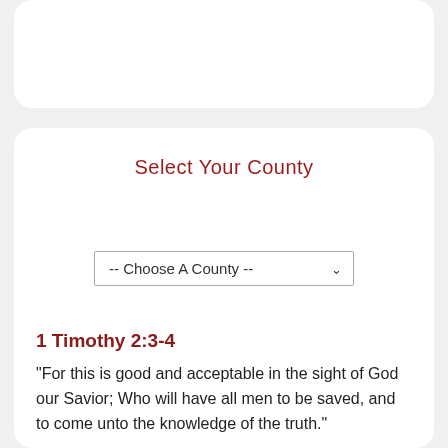Select Your County
-- Choose A County --
1 Timothy 2:3-4
“For this is good and acceptable in the sight of God our Savior; Who will have all men to be saved, and to come unto the knowledge of the truth.”